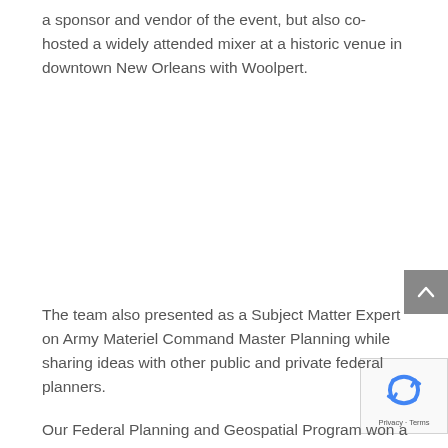a sponsor and vendor of the event, but also co-hosted a widely attended mixer at a historic venue in downtown New Orleans with Woolpert.
The team also presented as a Subject Matter Expert on Army Materiel Command Master Planning while sharing ideas with other public and private federal planners.
Our Federal Planning and Geospatial Program won a